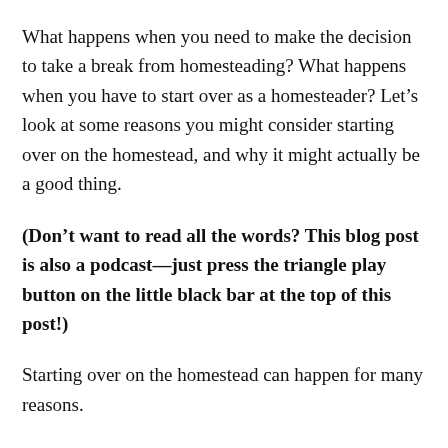What happens when you need to make the decision to take a break from homesteading? What happens when you have to start over as a homesteader? Let’s look at some reasons you might consider starting over on the homestead, and why it might actually be a good thing.
(Don’t want to read all the words? This blog post is also a podcast—just press the triangle play button on the little black bar at the top of this post!)
Starting over on the homestead can happen for many reasons.